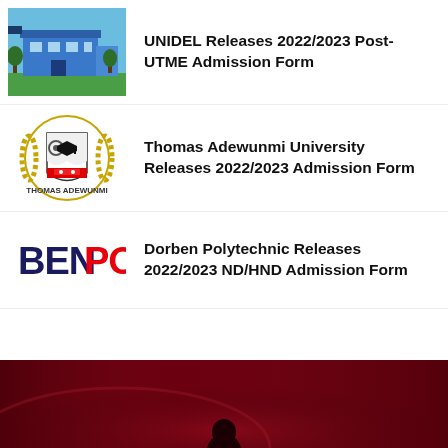[Figure (photo): Photo of UNIDEL university building, blue structure with trees]
UNIDEL Releases 2022/2023 Post-UTME Admission Form
[Figure (logo): Thomas Adewunmi University coat of arms / crest logo]
Thomas Adewunmi University Releases 2022/2023 Admission Form
[Figure (logo): Dorben Polytechnic logo with BEN POL text in dark blue and red]
Dorben Polytechnic Releases 2022/2023 ND/HND Admission Form
[Figure (photo): Dark red/maroon banner with a person's silhouette at the bottom of the page]